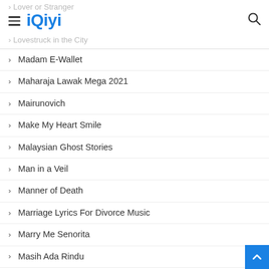iQiyi
Madam E-Wallet
Maharaja Lawak Mega 2021
Mairunovich
Make My Heart Smile
Malaysian Ghost Stories
Man in a Veil
Manner of Death
Marriage Lyrics For Divorce Music
Marry Me Senorita
Masih Ada Rindu
Mata Ketiga
Medalist Lawyer